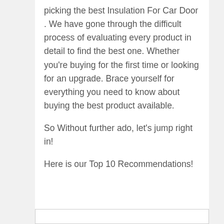picking the best Insulation For Car Door . We have gone through the difficult process of evaluating every product in detail to find the best one. Whether you're buying for the first time or looking for an upgrade. Brace yourself for everything you need to know about buying the best product available.
So Without further ado, let's jump right in!
Here is our Top 10 Recommendations!